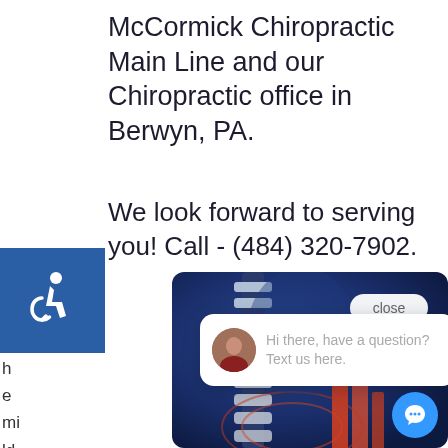McCormick Chiropractic Main Line and our Chiropractic office in Berwyn, PA.
We look forward to serving you! Call - (484) 320-7902.
[Figure (illustration): Blue accessibility icon (wheelchair symbol) on a blue square background]
h e mi ld de co m pr es si
[Figure (photo): Medical illustration of a human spine/back with blue anatomical background and red/orange elements at the bottom, with a chat popup overlay showing 'Hi there, have a question? Text us here.' and a close button, and a blue chat bubble button in the lower right corner.]